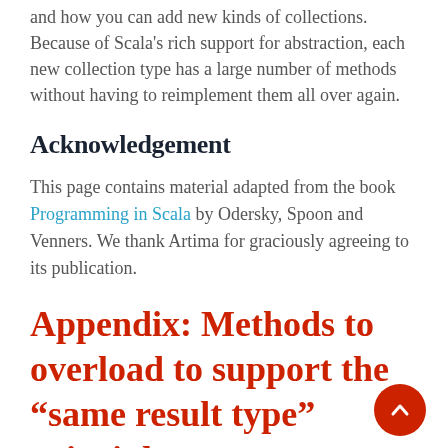and how you can add new kinds of collections. Because of Scala's rich support for abstraction, each new collection type has a large number of methods without having to reimplement them all over again.
Acknowledgement
This page contains material adapted from the book Programming in Scala by Odersky, Spoon and Venners. We thank Artima for graciously agreeing to its publication.
Appendix: Methods to overload to support the “same result type” principle